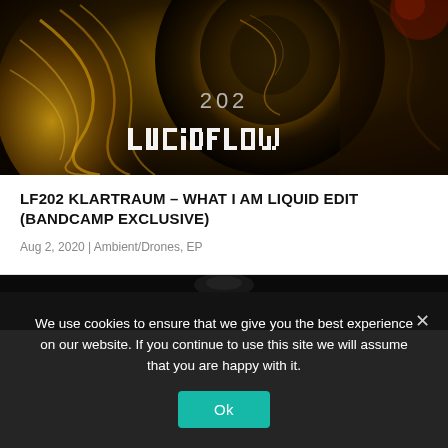[Figure (illustration): Album artwork for LF202 Lucidflow release — dark swirling fractal/metallic abstract image with gold and black tones, featuring '202' text and 'LUCIDFLOW' logo in stylized pixelated font in lower center]
LF202 KLARTRAUM – WHAT I AM LIQUID EDIT (BANDCAMP EXCLUSIVE)
Aug 2, 2020 | Ambient/Drones, EP
[Figure (photo): Partial dark album artwork partially visible at bottom, black background with faint silhouette]
We use cookies to ensure that we give you the best experience on our website. If you continue to use this site we will assume that you are happy with it.